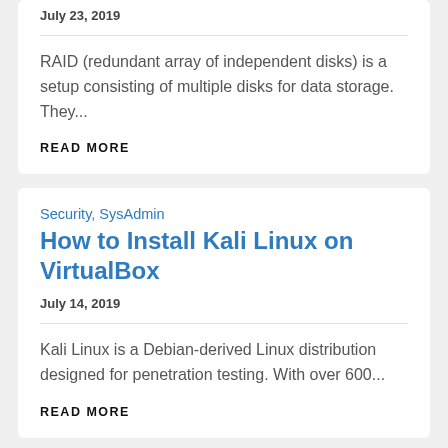July 23, 2019
RAID (redundant array of independent disks) is a setup consisting of multiple disks for data storage. They...
READ MORE
Security, SysAdmin
How to Install Kali Linux on VirtualBox
July 14, 2019
Kali Linux is a Debian-derived Linux distribution designed for penetration testing. With over 600...
READ MORE